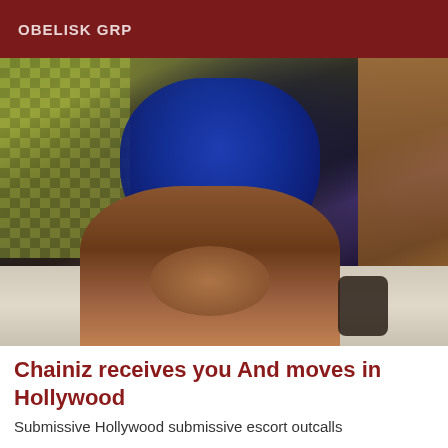OBELISK GRP
[Figure (photo): Close-up blurry photo showing legs/lower body in a blue skirt, with a checkered background on the left and tile floor visible below.]
Chainiz receives you And moves in Hollywood
Submissive Hollywood submissive escort outcalls